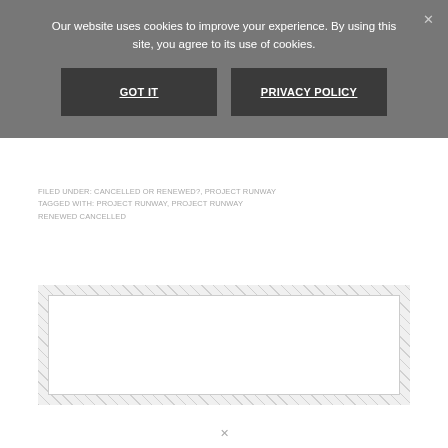Our website uses cookies to improve your experience. By using this site, you agree to its use of cookies.
GOT IT
PRIVACY POLICY
FILED UNDER: CANCELLED OR RENEWED?, PROJECT RUNWAY
TAGGED WITH: PROJECT RUNWAY, PROJECT RUNWAY RENEWED CANCELLED
[Figure (other): Hatched advertisement placeholder box with white inner rectangle]